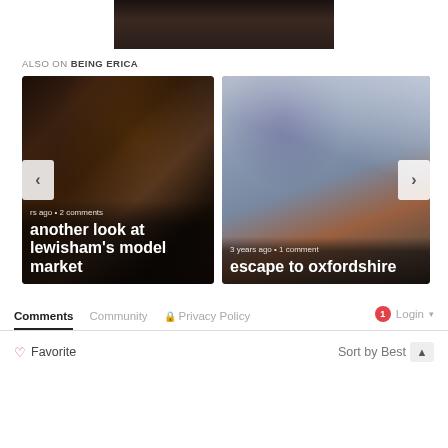[Figure (photo): Top portion of a dark restaurant/bar interior photo, partially shown at the top of the page]
ALSO ON BEING ERICA
[Figure (photo): Left card: Crowded market scene at night with people. Text overlay: 'rs ago • 2 comments' and 'another look at lewisham's model market']
[Figure (photo): Right card: Oxford church tower with purple banner and cloudy sky. Text overlay: '3 years ago • 1 comment' and 'escape to oxfordshire']
Comments	Community	Privacy Policy	Login
Favorite	Sort by Best